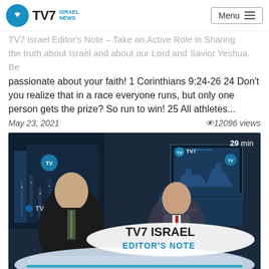TV7 Israel News | Menu
TV7 Israel Editor's Note – Take an Active Role in Sharing the truth about Israel and about our Lord and Savior Yeshua. Be passionate about your faith! 1 Corinthians 9:24-26 24 Don't you realize that in a race everyone runs, but only one person gets the prize? So run to win! 25 All athletes...
May 23, 2021   👁12096 views
[Figure (photo): TV7 Israel Editor's Note video thumbnail showing two men in suits at a news anchor desk with 'TV7 Israel Editor's Note' overlay text and '29 min' duration badge]
TV7 Israel Editor's Note – Israel under Fire - Pray for the Peace of Jerusalem